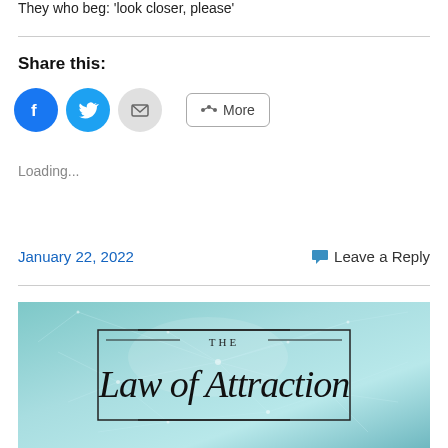They who beg: 'look closer, please'
Share this:
[Figure (other): Social share buttons: Facebook (blue circle), Twitter (blue circle), Email (grey circle), and a More button with share icon]
Loading...
January 22, 2022
Leave a Reply
[Figure (illustration): The Law of Attraction banner image with teal/blue glowing neural network background and elegant script text reading 'The Law of Attraction' with a decorative border frame]